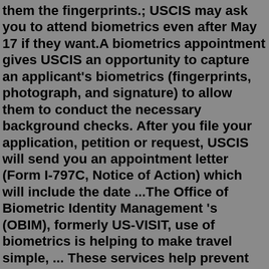L2, L1, and L5 applicants should attend and give them the fingerprints.; USCIS may ask you to attend biometrics even after May 17 if they want.A biometrics appointment gives USCIS an opportunity to capture an applicant's biometrics (fingerprints, photograph, and signature) to allow them to conduct the necessary background checks. After you file your application, petition or request, USCIS will send you an appointment letter (Form I-797C, Notice of Action) which will include the date ...The Office of Biometric Identity Management 's (OBIM), formerly US-VISIT, use of biometrics is helping to make travel simple, ... These services help prevent identity fraud and deprive criminals and immigration violators of the ability to cross our borders. Based on biometrics alone, OBIM has helped stop thousands of people who were ...Biometric Screening is a security check process that everyone who has applied for immigration benefits should go for. During your Biometrics appointment, the USCIS officials will take your fingerprints, photograph, and signature. They